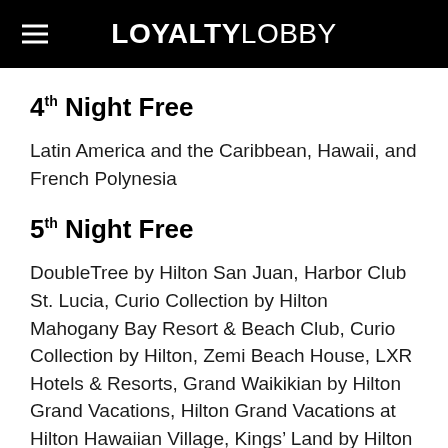LOYALTYLOBBY
4th Night Free
Latin America and the Caribbean, Hawaii, and French Polynesia
5th Night Free
DoubleTree by Hilton San Juan, Harbor Club St. Lucia, Curio Collection by Hilton Mahogany Bay Resort & Beach Club, Curio Collection by Hilton, Zemi Beach House, LXR Hotels & Resorts, Grand Waikikian by Hilton Grand Vacations, Hilton Grand Vacations at Hilton Hawaiian Village, Kings’ Land by Hilton Grand Vacations, Ocean Tower by Hilton Grand Vacations, Grand Wailea, A Waldorf Astoria Resort